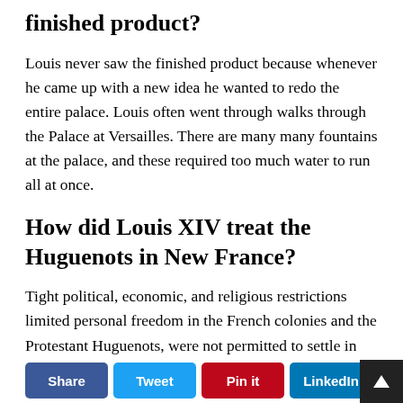finished product?
Louis never saw the finished product because whenever he came up with a new idea he wanted to redo the entire palace. Louis often went through walks through the Palace at Versailles. There are many many fountains at the palace, and these required too much water to run all at once.
How did Louis XIV treat the Huguenots in New France?
Tight political, economic, and religious restrictions limited personal freedom in the French colonies and the Protestant Huguenots, were not permitted to settle in New France. Describe Louis XIV’s treatment of the Huguenots. How did this policy hurt France?
Share  Tweet  Pin it  LinkedIn  ↑